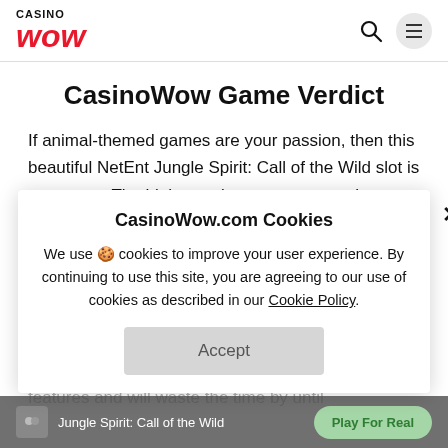CASINO WOW
CasinoWow Game Verdict
If animal-themed games are your passion, then this beautiful NetEnt Jungle Spirit: Call of the Wild slot is a must-try. The higher variance may mean that you need to be a little wiser with your bets, as the gameplay is a little more on the risky side. In this way, one of the NetEnt casino bonuses might help you with your hard-earned money.
If you manage to trigger one of these icons you are in for a treat as they are random base game features and will waste the time by until
CasinoWow.com Cookies
We use 🍪 cookies to improve your user experience. By continuing to use this site, you are agreeing to our use of cookies as described in our Cookie Policy.
Accept
Jungle Spirit: Call of the Wild  Play For Real